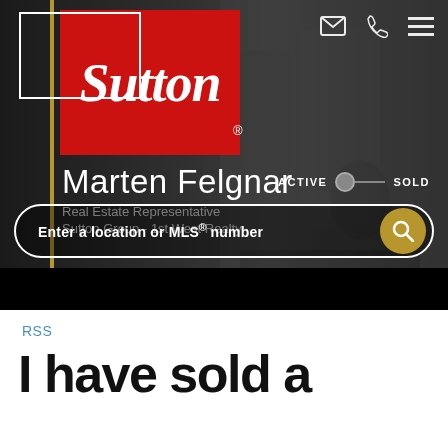[Figure (screenshot): Real estate agent website hero section showing Sutton logo, agent Marten Felgnar's name and title, navigation icons, Active/Sold toggle, and property search bar]
RSS
I have sold a